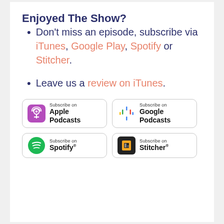Enjoyed The Show?
Don't miss an episode, subscribe via iTunes, Google Play, Spotify or Stitcher.
Leave us a review on iTunes.
[Figure (logo): Subscribe on Apple Podcasts badge]
[Figure (logo): Subscribe on Google Podcasts badge]
[Figure (logo): Subscribe on Spotify badge]
[Figure (logo): Subscribe on Stitcher badge]